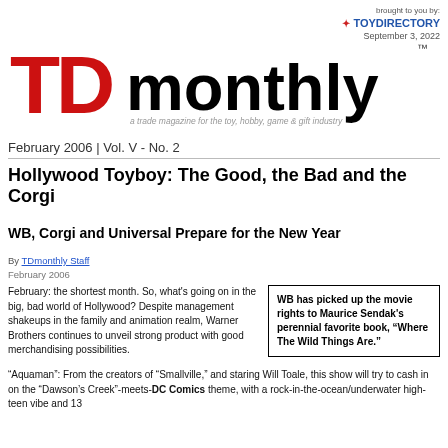brought to you by: TOYDIRECTORY September 3, 2022
[Figure (logo): TD monthly logo — large red TD letters with black 'monthly' text and TM mark, tagline: a trade magazine for the toy, hobby, game & gift industry]
February 2006 | Vol. V - No. 2
Hollywood Toyboy: The Good, the Bad and the Corgi
WB, Corgi and Universal Prepare for the New Year
By TDmonthly Staff
February 2006
February: the shortest month. So, what's going on in the big, bad world of Hollywood? Despite management shakeups in the family and animation realm, Warner Brothers continues to unveil strong product with good merchandising possibilities.
WB has picked up the movie rights to Maurice Sendak's perennial favorite book, “Where The Wild Things Are.”
“Aquaman”: From the creators of “Smallville,” and staring Will Toale, this show will try to cash in on the “Dawson’s Creek”-meets-DC Comics theme, with a rock-in-the-ocean/underwater high-teen vibe and 13